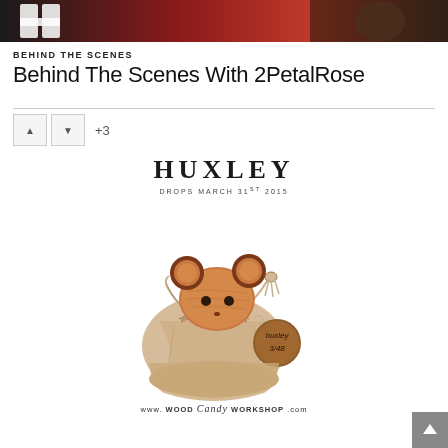[Figure (photo): Website banner/header image showing stylized graphic with red and dark background, partially visible]
BEHIND THE SCENES
Behind The Scenes With 2PetalRose
[Figure (other): Vote/rating widget with up arrow button, down arrow button, and +3 count]
[Figure (photo): Huxley wooden toy mouse figure sitting in a linen drawstring bag with a round wooden tag engraved with 'huxley 3/48', with www.WoodCandyWorkshop.com branding text below. Text at top reads HUXLEY DROPS MARCH 31st 2015]